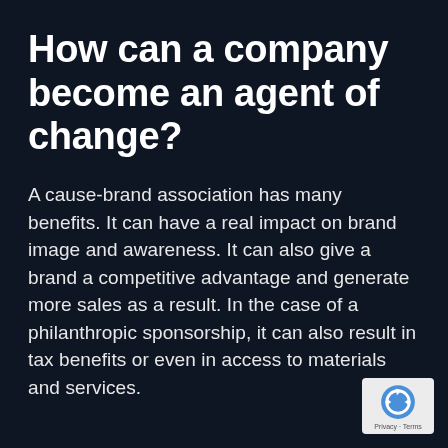How can a company become an agent of change?
A cause-brand association has many benefits. It can have a real impact on brand image and awareness. It can also give a brand a competitive advantage and generate more sales as a result. In the case of a philanthropic sponsorship, it can also result in tax benefits or even in access to materials and services.
[Figure (logo): Google reCAPTCHA badge showing recycling-style arrow logo with 'Privacy · Terms' text below]